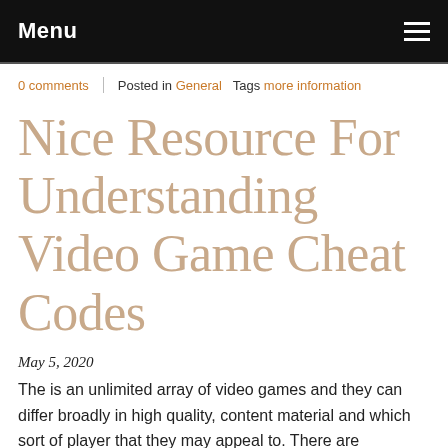Menu
0 comments | Posted in General   Tags more information
Nice Resource For Understanding Video Game Cheat Codes
May 5, 2020
The is an unlimited array of video games and they can differ broadly in high quality, content material and which sort of player that they may appeal to. There are excessive finish games out there that carry an equally excessive value tag and there are